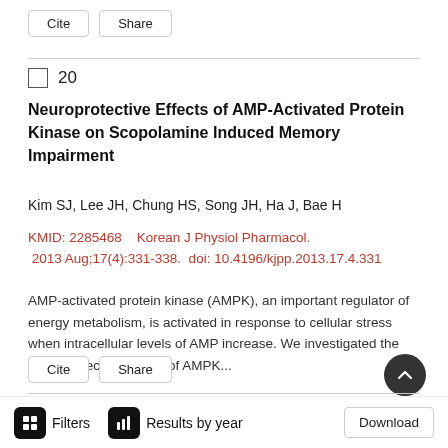Cite  Share
Neuroprotective Effects of AMP-Activated Protein Kinase on Scopolamine Induced Memory Impairment
Kim SJ, Lee JH, Chung HS, Song JH, Ha J, Bae H
KMID: 2285468    Korean J Physiol Pharmacol. 2013 Aug;17(4):331-338.  doi: 10.4196/kjpp.2013.17.4.331
AMP-activated protein kinase (AMPK), an important regulator of energy metabolism, is activated in response to cellular stress when intracellular levels of AMP increase. We investigated the neuroprotective effects of AMPK...
Cite  Share
Filters   Results by year   Download